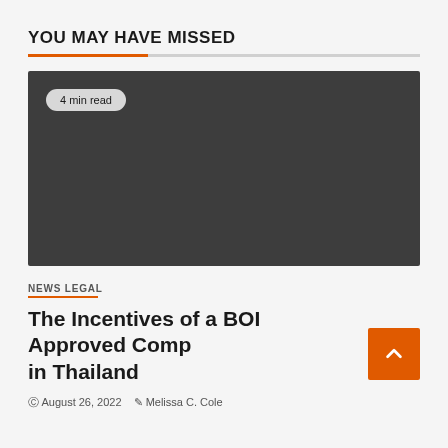YOU MAY HAVE MISSED
[Figure (photo): Dark gray placeholder image with a '4 min read' badge in the top-left corner]
NEWS LEGAL
The Incentives of a BOI Approved Company in Thailand
© August 26, 2022  ✎ Melissa C. Cole